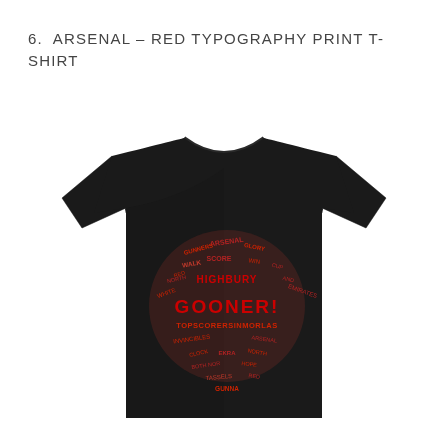6.  ARSENAL – RED TYPOGRAPHY PRINT T-SHIRT
[Figure (photo): A black t-shirt with a large red sphere-shaped typography word cloud on the chest, featuring Arsenal football club related words including 'GOONER', 'HIGHBURY', 'ARSENAL', and other related terms arranged in a globe/ball shape.]